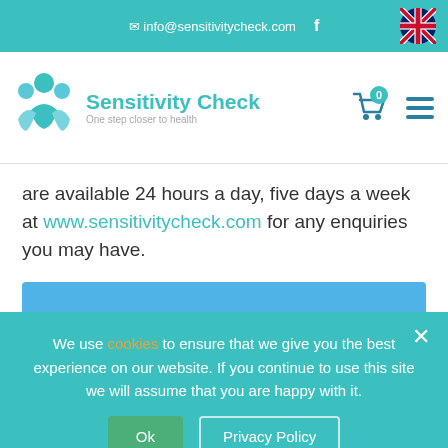✉ info@sensitivitycheck.com  f
[Figure (logo): Sensitivity Check logo with teal human figures and text 'Sensitivity Check - One step closer to health']
are available 24 hours a day, five days a week at www.sensitivitycheck.com for any enquiries you may have.
We use cookies to ensure that we give you the best experience on our website. If you continue to use this site we will assume that you are happy with it.
Ok   Privacy Policy